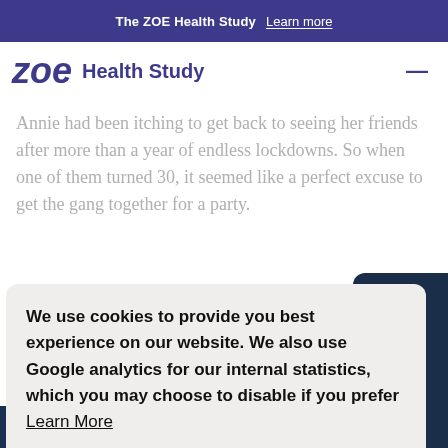The ZOE Health Study  Learn more
zoe Health Study
Annie had been itching to get back to seeing her friends after more than a year of endless lockdowns. So when one of them turned 30, it seemed like a perfect excuse to get the gang together for a party.
We use cookies to provide you best experience on our website. We also use Google analytics for our internal statistics, which you may choose to disable if you prefer  Learn More
Disable analytics
Got it